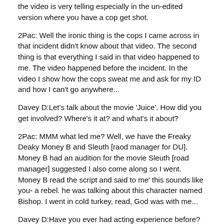the video is very telling especially in the un-edited version where you have a cop get shot.
2Pac: Well the ironic thing is the cops I came across in that incident didn't know about that video. The second thing is that everything I said in that video happened to me. The video happened before the incident. In the video I show how the cops sweat me and ask for my ID and how I can't go anywhere...
Davey D:Let's talk about the movie 'Juice'. How did you get involved? Where's it at? and what's it about?
2Pac: MMM what led me? Well, we have the Freaky Deaky Money B and Sleuth [raod manager for DU]. Money B had an audition for the movie Sleuth [road manager] suggested I also come along so I went. Money B read the script and said to me' this sounds like you- a rebel. he was talking about this character named Bishop. I went in cold turkey, read, God was with me...
Davey D:Have you ever had acting experience before?
2Pac: Actually I went to the school of Performing arts in Baltimore and that's where I got my acting skills.